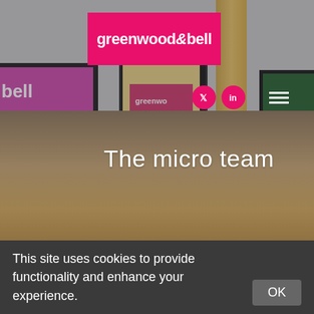[Figure (photo): Office interior with desks, computer monitors displaying pink branding, a framed print, and wooden structural post, with Greenwood Bell branding visible]
The micro team
This site uses cookies to provide functionality and enhance your experience.